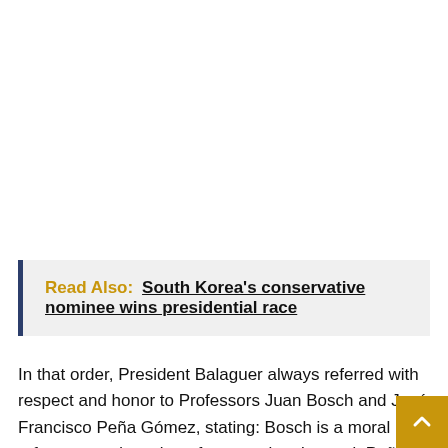Read Also: South Korea's conservative nominee wins presidential race
In that order, President Balaguer always referred with respect and honor to Professors Juan Bosch and José Francisco Peña Gómez, stating: Bosch is a moral reference and a writer of great value. Instead, Peña Gómez was the political leader of the